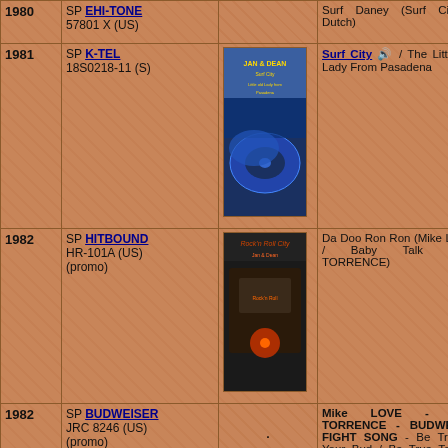| Year | Label | Image | Tracks |
| --- | --- | --- | --- |
| 1980 | SP EHI-TONE 57801 X (US) |  | Surf Daney (Surf City In Dutch) |
| 1981 | SP K-TEL 18S0218-11 (S) | [Jan & Dean image] | Surf City / The Little Old Lady From Pasadena |
| 1982 | SP HITBOUND HR-101A (US) (promo) | [Rock n Roll City image] | Da Doo Ron Ron (Mike LOVE) / Baby Talk (Dean TORRENCE) |
| 1982 | SP BUDWEISER JRC 8246 (US) (promo) |  | Mike LOVE - Dean TORRENCE - BUDWEISER FIGHT SONG - Be True To Your Bud / Be True To Your Bud (instr. version) |
| 1982 | EP BITCHEN BREP 003 (AUS) | [Bitchen image] | CALIFORNIA COLLECTORS SERIES VOLUME THREE - Gonna Hustle You (Brian WILSON) / Don't You Just Know It / Hide Your Love Away (Jan BERRY) / A |